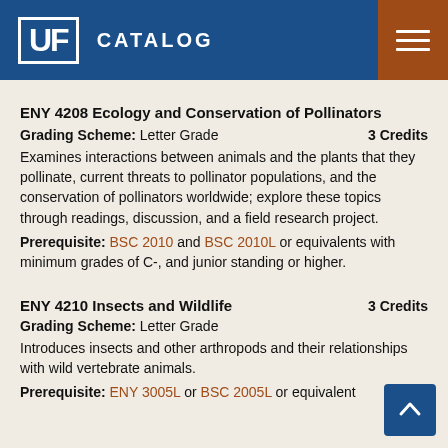UF CATALOG
ENY 4208 Ecology and Conservation of Pollinators
Grading Scheme: Letter Grade   3 Credits
Examines interactions between animals and the plants that they pollinate, current threats to pollinator populations, and the conservation of pollinators worldwide; explore these topics through readings, discussion, and a field research project.
Prerequisite: BSC 2010 and BSC 2010L or equivalents with minimum grades of C-, and junior standing or higher.
ENY 4210 Insects and Wildlife   3 Credits
Grading Scheme: Letter Grade
Introduces insects and other arthropods and their relationships with wild vertebrate animals.
Prerequisite: ENY 3005L or BSC 2005L or equivalent